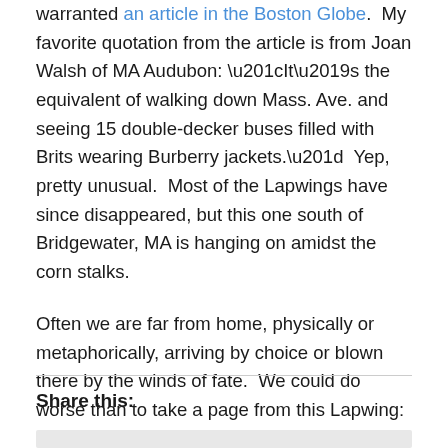warranted an article in the Boston Globe.  My favorite quotation from the article is from Joan Walsh of MA Audubon: “It’s the equivalent of walking down Mass. Ave. and seeing 15 double-decker buses filled with Brits wearing Burberry jackets.”  Yep, pretty unusual.  Most of the Lapwings have since disappeared, but this one south of Bridgewater, MA is hanging on amidst the corn stalks.
Often we are far from home, physically or metaphorically, arriving by choice or blown there by the winds of fate.  We could do worse than to take a page from this Lapwing: soaking up a little sunshine, enjoying some local food, and checking out the new scenery.
Share this: